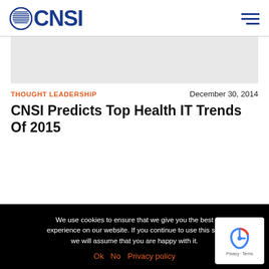CNSI
[Figure (other): Gray banner image placeholder]
THOUGHT LEADERSHIP
December 30, 2014
CNSI Predicts Top Health IT Trends Of 2015
We use cookies to ensure that we give you the best experience on our website. If you continue to use this site we will assume that you are happy with it.
Ok  No  Privacy policy